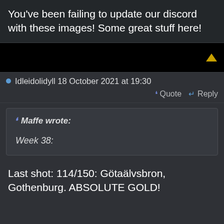You've been failing to update our discord with these images! Some great stuff here!
[Figure (screenshot): Black bar with a gold/yellow upward triangle arrow in the top-right corner]
Idleidolidyll 18 October 2021 at 19:30
Quote  Reply
Maffe wrote:

Week 38:
Last shot: 114/150: Götaälvsbron, Gothenburg. ABSOLUTE GOLD!